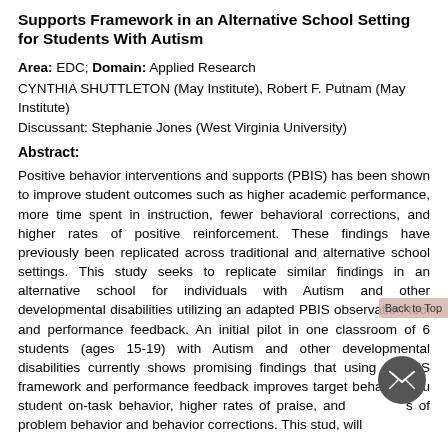Supports Framework in an Alternative School Setting for Students With Autism
Area: EDC; Domain: Applied Research
CYNTHIA SHUTTLETON (May Institute), Robert F. Putnam (May Institute)
Discussant: Stephanie Jones (West Virginia University)
Abstract:
Positive behavior interventions and supports (PBIS) has been shown to improve student outcomes such as higher academic performance, more time spent in instruction, fewer behavioral corrections, and higher rates of positive reinforcement. These findings have previously been replicated across traditional and alternative school settings. This study seeks to replicate similar findings in an alternative school for individuals with Autism and other developmental disabilities utilizing an adapted PBIS observation tool and performance feedback. An initial pilot in one classroom of 6 students (ages 15-19) with Autism and other developmental disabilities currently shows promising findings that using a PBIS framework and performance feedback improves target behaviors su student on-task behavior, higher rates of praise, and of problem behavior and behavior corrections. This stud, will